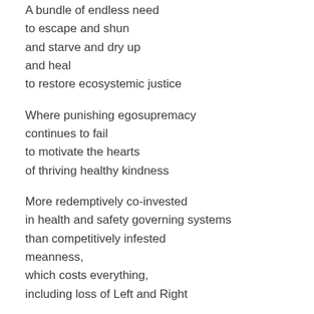A bundle of endless need
to escape and shun
and starve and dry up
and heal
to restore ecosystemic justice

Where punishing egosupremacy
continues to fail
to motivate the hearts
of thriving healthy kindness

More redemptively co-invested
in health and safety governing systems
than competitively infested
meanness,
which costs everything,
including loss of Left and Right
conservation rights to restore